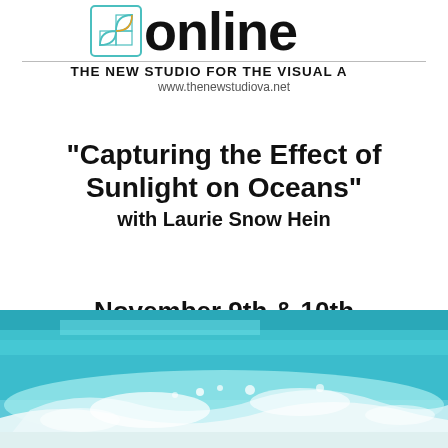[Figure (logo): The New Studio for the Visual Arts online logo with golden spiral icon, bold 'online' text, subtitle 'THE NEW STUDIO FOR THE VISUAL ARTS', and website www.thenewstudiova.net]
"Capturing the Effect of Sunlight on Oceans" with Laurie Snow Hein
November 9th & 10th
9:00 am to 12:00 pm
$175
[Figure (photo): Ocean wave photo showing turquoise water with white foam crashing waves under bright sunlight]